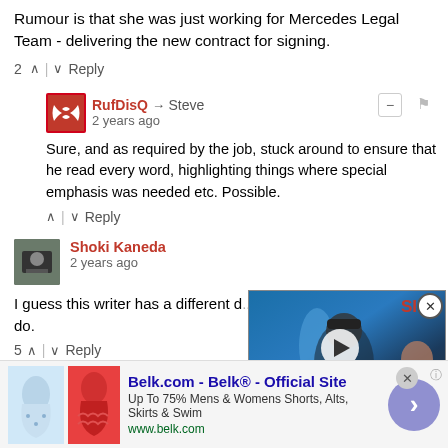Rumour is that she was just working for Mercedes Legal Team - delivering the new contract for signing.
2 ^ | v Reply
RufDisQ → Steve
2 years ago
Sure, and as required by the job, stuck around to ensure that he read every word, highlighting things where special emphasis was needed etc. Possible.
^ | v Reply
Shoki Kaneda
2 years ago
I guess this writer has a different d... do.
5 ^ | v Reply
Alonso might be right
[Figure (screenshot): Video overlay showing an F1 driver with a trophy, SI logo, play button, and caption: 'The eight-time grand prix winner is the only McLaren driver to win an F1 race in the last decade, but now, he's a free agent.']
[Figure (screenshot): Advertisement for Belk.com - Belk Official Site showing clothing images, text 'Up To 75% Mens & Womens Shorts, Alts, Skirts & Swim', URL www.belk.com, close button, and arrow button]